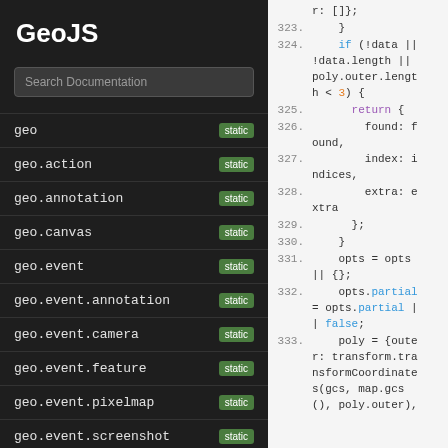GeoJS
Search Documentation
geo  static
geo.action  static
geo.annotation  static
geo.canvas  static
geo.event  static
geo.event.annotation  static
geo.event.camera  static
geo.event.feature  static
geo.event.pixelmap  static
geo.event.screenshot  static
[Figure (screenshot): Code editor panel showing JavaScript source code lines 323-333 with syntax highlighting. Lines include: r: []}; 323: } 324: if (!data || !data.length || poly.outer.length < 3) { 325: return { 326: found: found, 327: index: indices, 328: extra: extra 329: }; 330: } 331: opts = opts || {}; 332: opts.partial = opts.partial || false; 333: poly = {outer: transform.transformCoordinates(gcs, map.gcs(), poly.outer),]